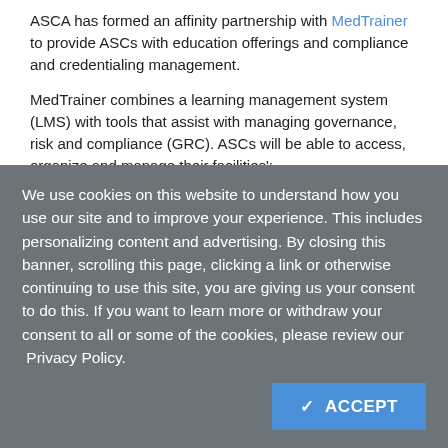ASCA has formed an affinity partnership with MedTrainer to provide ASCs with education offerings and compliance and credentialing management.
MedTrainer combines a learning management system (LMS) with tools that assist with managing governance, risk and compliance (GRC). ASCs will be able to access, organize and manage their facilities':
Policies and procedures
Safety Data Sheets (SDS)
Contracts
Equipment maintenance schedules
Incident reporting
Safety plans
MedTrainer makes compliance management accessible, 24/7, to all ASCs at a price they can afford.
We use cookies on this website to understand how you use our site and to improve your experience. This includes personalizing content and advertising. By closing this banner, scrolling this page, clicking a link or otherwise continuing to use this site, you are giving us your consent to do this. If you want to learn more or withdraw your consent to all or some of the cookies, please review our  Privacy Policy.